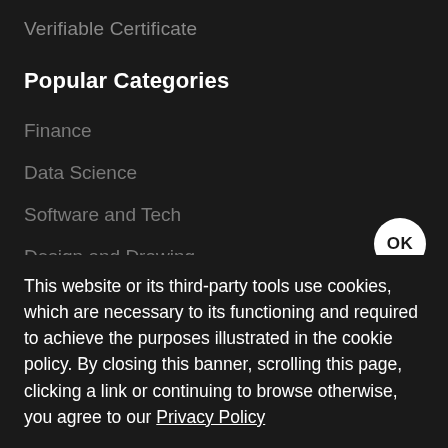Verifiable Certificate
Popular Categories
Finance
Data Science
Software and Tech
Design and Drawing
Excel
P...
M...
P...
H...
This website or its third-party tools use cookies, which are necessary to its functioning and required to achieve the purposes illustrated in the cookie policy. By closing this banner, scrolling this page, clicking a link or continuing to browse otherwise, you agree to our Privacy Policy